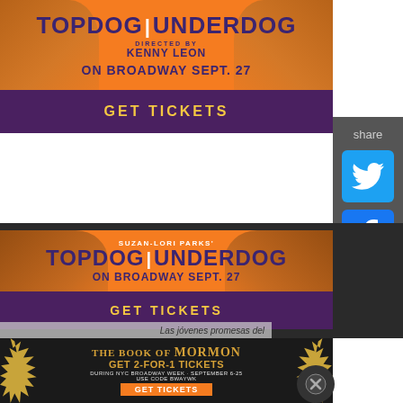[Figure (illustration): Topdog/Underdog Broadway show advertisement banner. Orange background with illustrated faces on each side. Text: TOPDOG | UNDERDOG, Directed by KENNY LEON, ON BROADWAY SEPT. 27, GET TICKETS. Purple bar at bottom.]
[Figure (illustration): Share panel with Twitter and Facebook icons on gray background with 'share' label.]
[Figure (illustration): Second Topdog/Underdog Broadway show advertisement. Orange background, illustrated faces. Text: SUZAN-LORI PARKS' TOPDOG | UNDERDOG, ON BROADWAY SEPT. 27, GET TICKETS. Purple bar at bottom.]
Las jóvenes promesas del
[Figure (illustration): The Book of Mormon Broadway advertisement. Dark background with gold starburst edges. Text: THE BOOK OF MORMON, GET 2-FOR-1 TICKETS, DURING NYC BROADWAY WEEK · SEPTEMBER 6-25, USE CODE BWAYWK, GET TICKETS button in orange.]